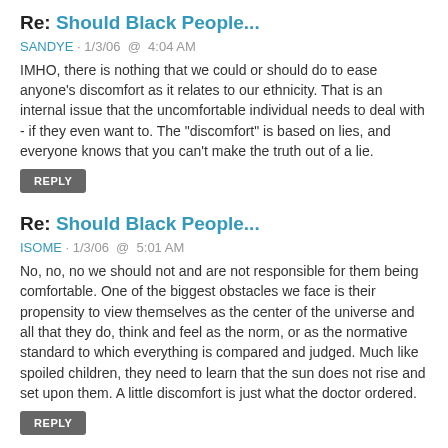Re: Should Black People...
SANDYE · 1/3/06 @ 4:04 AM
IMHO, there is nothing that we could or should do to ease anyone's discomfort as it relates to our ethnicity. That is an internal issue that the uncomfortable individual needs to deal with - if they even want to. The "discomfort" is based on lies, and everyone knows that you can't make the truth out of a lie.
REPLY
Re: Should Black People...
ISOME · 1/3/06 @ 5:01 AM
No, no, no we should not and are not responsible for them being comfortable. One of the biggest obstacles we face is their propensity to view themselves as the center of the universe and all that they do, think and feel as the norm, or as the normative standard to which everything is compared and judged. Much like spoiled children, they need to learn that the sun does not rise and set upon them. A little discomfort is just what the doctor ordered.
REPLY
Re: Jamie Foxx or David Oyelowo?